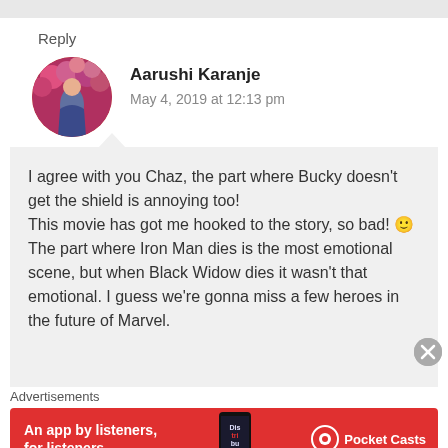Reply
Aarushi Karanje
May 4, 2019 at 12:13 pm
I agree with you Chaz, the part where Bucky doesn't get the shield is annoying too!
This movie has got me hooked to the story, so bad! 🙂
The part where Iron Man dies is the most emotional scene, but when Black Widow dies it wasn't that emotional. I guess we're gonna miss a few heroes in the future of Marvel.
Advertisements
[Figure (infographic): Red advertisement banner for Pocket Casts app with text 'An app by listeners, for listeners.' and phone image showing 'Distributed' book cover, with Pocket Casts logo on right.]